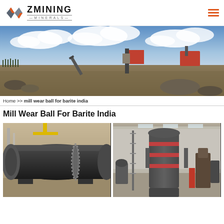ZMINING MINERALS
[Figure (photo): Wide panoramic photo of an open-pit mining site with industrial equipment, conveyor belts, processing plant, and cloudy sky]
Home >> mill wear ball for barite india
Mill Wear Ball For Barite India
[Figure (photo): Industrial ball mill machine, large cylindrical steel drum with gear, inside a factory]
[Figure (photo): Vertical grinding mill machines inside an industrial warehouse with red accent rings]